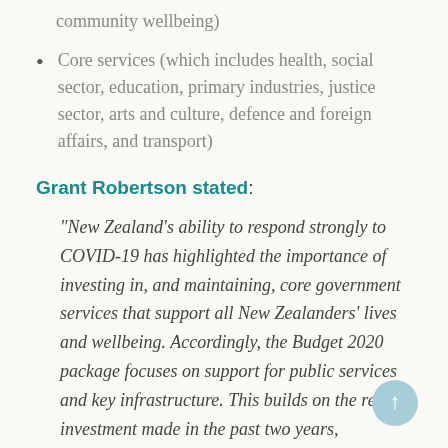community wellbeing)
Core services (which includes health, social sector, education, primary industries, justice sector, arts and culture, defence and foreign affairs, and transport)
Grant Robertson stated:
"New Zealand's ability to respond strongly to COVID-19 has highlighted the importance of investing in, and maintaining, core government services that support all New Zealanders' lives and wellbeing. Accordingly, the Budget 2020 package focuses on support for public services and key infrastructure. This builds on the record investment made in the past two years, rebuilding services after a decade of underfunding. It remains critical we maintain